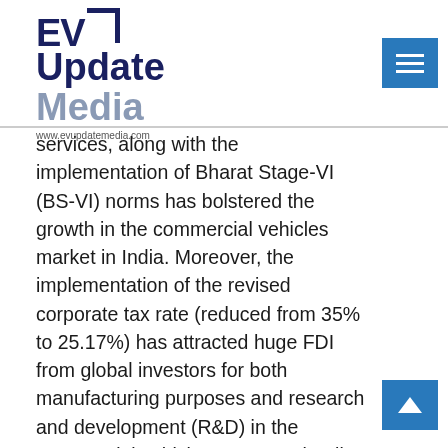EV Update Media — www.evupdatemedia.com
services, along with the implementation of Bharat Stage-VI (BS-VI) norms has bolstered the growth in the commercial vehicles market in India. Moreover, the implementation of the revised corporate tax rate (reduced from 35% to 25.17%) has attracted huge FDI from global investors for both manufacturing purposes and research and development (R&D) in the commercial vehicles segment, leading to further expansion of the market. However, surge in the operating costs of running these vehicles, rising customs duty, and lack of demand in the market due to the existing liquidity crisis in the economy are some of the factors impeding the growth the market.